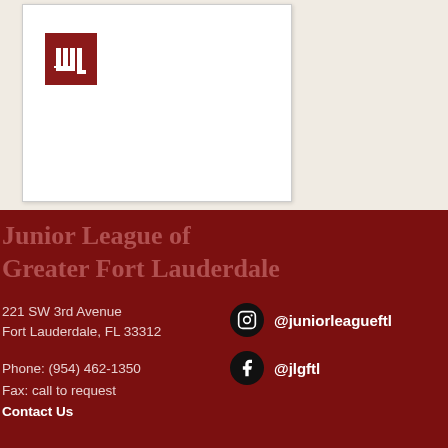[Figure (logo): Junior League logo — red square with white 'JL' monogram columns design]
Junior League of Greater Fort Lauderdale
221 SW 3rd Avenue
Fort Lauderdale, FL 33312
Phone: (954) 462-1350
Fax: call to request
Contact Us
@juniorleagueftl
@jlgftl